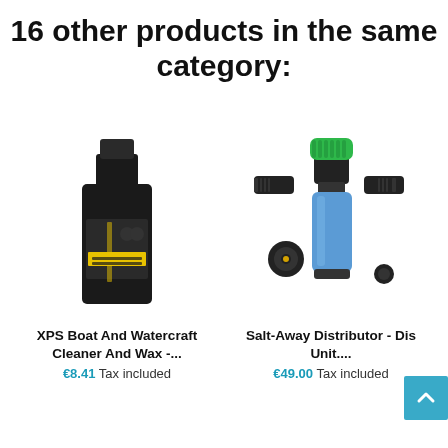16 other products in the same category:
[Figure (photo): Black bottle of XPS Boat And Watercraft Cleaner And Wax product]
[Figure (photo): Salt-Away Distributor - Dis Unit, a blue cylindrical filter device with green cap and black fittings]
XPS Boat And Watercraft Cleaner And Wax -...
€8.41 Tax included
Salt-Away Distributor - Dis Unit....
€49.00 Tax included